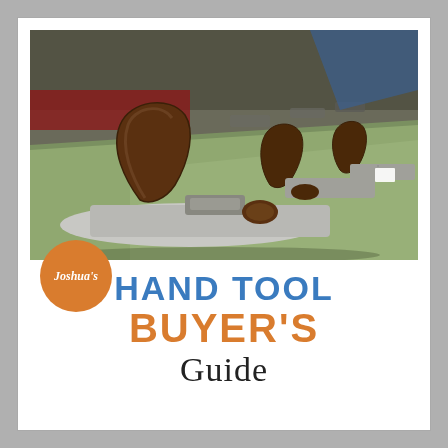[Figure (photo): Photograph of multiple vintage hand planes arranged on a green-draped table at an outdoor tool market or swap meet. The planes are displayed for sale with price tags.]
[Figure (logo): Orange circular badge with white italic script text reading Joshua's]
HAND TOOL BUYER'S Guide